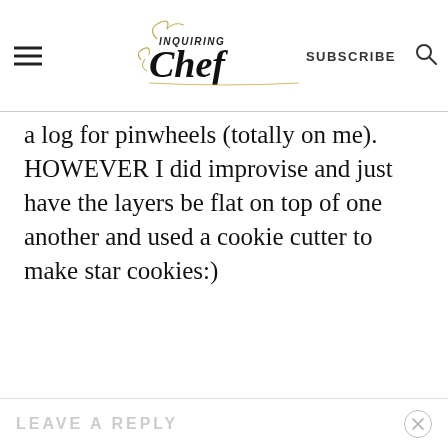Inquiring Chef | SUBSCRIBE
a log for pinwheels (totally on me). HOWEVER I did improvise and just have the layers be flat on top of one another and used a cookie cutter to make star cookies:)
REPLY
LEAVE A REPLY